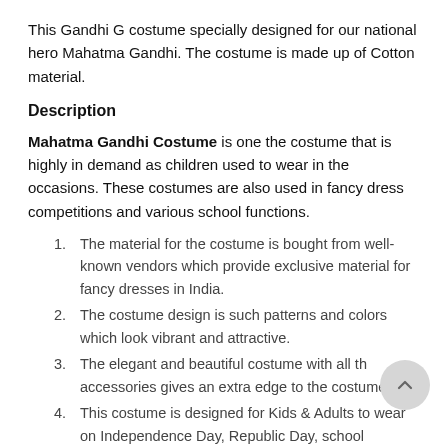This Gandhi G costume specially designed for our national hero Mahatma Gandhi. The costume is made up of Cotton material.
Description
Mahatma Gandhi Costume is one the costume that is highly in demand as children used to wear in the occasions. These costumes are also used in fancy dress competitions and various school functions.
The material for the costume is bought from well-known vendors which provide exclusive material for fancy dresses in India.
The costume design is such patterns and colors which look vibrant and attractive.
The elegant and beautiful costume with all the accessories gives an extra edge to the costumes.
This costume is designed for Kids & Adults to wear on Independence Day, Republic Day, school